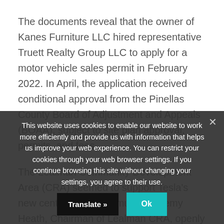The documents reveal that the owner of Kanes Furniture LLC hired representative Truett Realty Group LLC to apply for a motor vehicle sales permit in February 2022. In April, the application received conditional approval from the Pinellas County Board of Adjustment and Appeals (BOAA), subject to site plan approval, permits, and fees.
The Lealman Community Development Area (CRA) seemed to support Tesla's new center in the community. Jeremy Heath, Chairman of Lealman CRA, openly endorsed the Bo... [partially obscured] ...We believe this [obscured] ...nue to attract ...man and ...potentially serve as a cozy...
This website uses cookies to enable our website to work more efficiently and provide us with information that helps us improve your web experience. You can restrict your cookies through your web browser settings. If you continue browsing this site without changing your settings, you agree to their use.